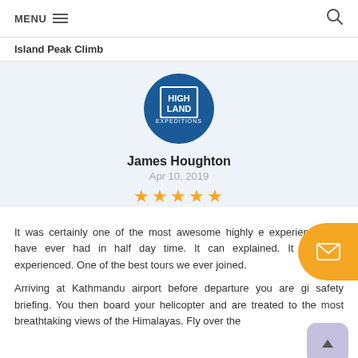MENU  🔍
Island Peak Climb
[Figure (logo): Highland Expeditions circular logo with white text on dark blue background]
James Houghton
Apr 10, 2019
★★★★★
It was certainly one of the most awesome highly e... experiences we have ever had in half day time. It can... explained. It must be experienced. One of the best tours we ever joined.
Arriving at Kathmandu airport before departure you are gi... safety briefing. You then board your helicopter and are treated to the most breathtaking views of the Himalayas. Fly over the